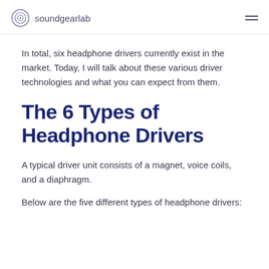soundgearlab
In total, six headphone drivers currently exist in the market. Today, I will talk about these various driver technologies and what you can expect from them.
The 6 Types of Headphone Drivers
A typical driver unit consists of a magnet, voice coils, and a diaphragm.
Below are the five different types of headphone drivers: